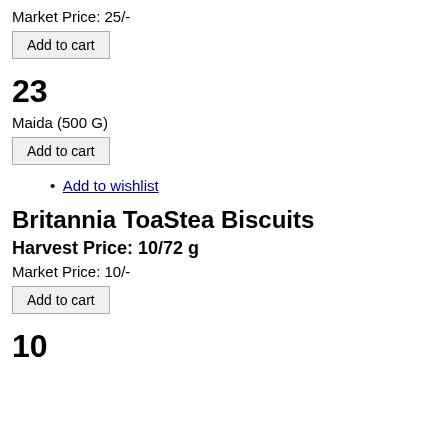Market Price: 25/-
Add to cart
23
Maida (500 G)
Add to cart
Add to wishlist
Britannia ToaStea Biscuits
Harvest Price: 10/72 g
Market Price: 10/-
Add to cart
10